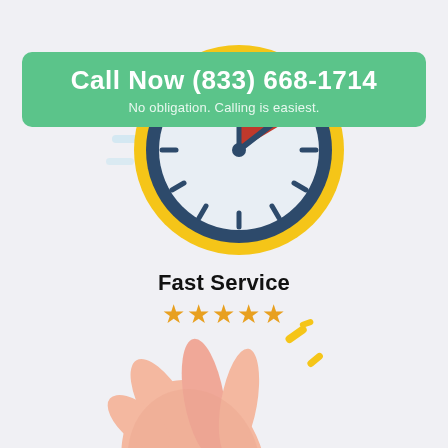[Figure (illustration): Animated clock illustration with dark blue clock face, yellow/gold rim, and a red section in the upper right quadrant. Light blue motion lines on the left side suggest speed. The clock is centered at the top of the page, partially cut off.]
Call Now (833) 668-1714
No obligation. Calling is easiest.
Fast Service
★★★★★
[Figure (illustration): Partially visible illustration of a hand (peach/skin-tone colored) making a snapping gesture, with small yellow sparkle/flash marks to the right suggesting speed or action. Only the bottom portion of the hand is visible, cropped at the bottom of the page.]